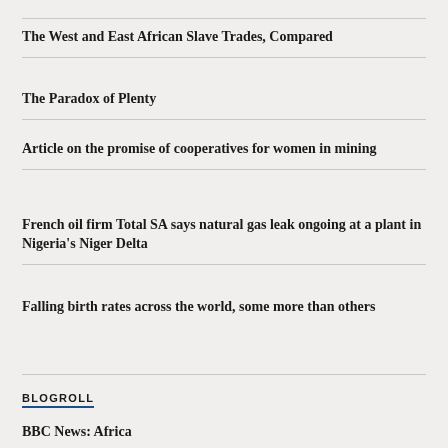The West and East African Slave Trades, Compared
The Paradox of Plenty
Article on the promise of cooperatives for women in mining
French oil firm Total SA says natural gas leak ongoing at a plant in Nigeria's Niger Delta
Falling birth rates across the world, some more than others
BLOGROLL
BBC News: Africa